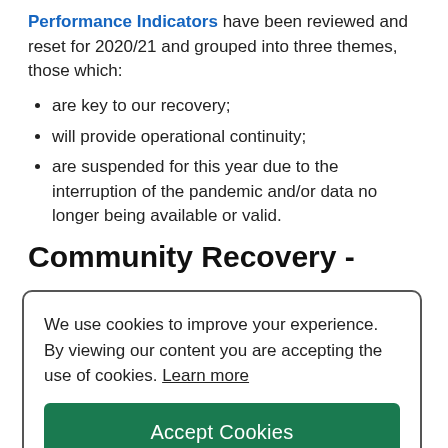Performance Indicators have been reviewed and reset for 2020/21 and grouped into three themes, those which:
are key to our recovery;
will provide operational continuity;
are suspended for this year due to the interruption of the pandemic and/or data no longer being available or valid.
Community Recovery -
We use cookies to improve your experience. By viewing our content you are accepting the use of cookies. Learn more
Accept Cookies
society;